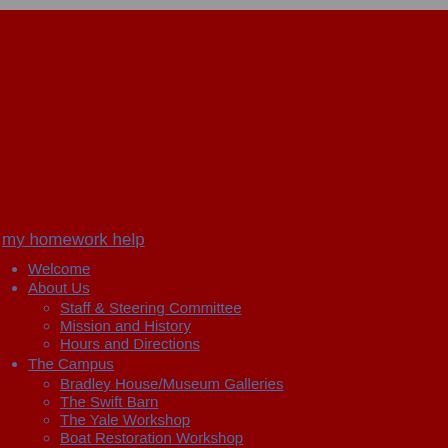my homework help
Welcome
About Us
Staff & Steering Committee
Mission and History
Hours and Directions
The Campus
Bradley House/Museum Galleries
The Swift Barn
The Yale Workshop
Boat Restoration Workshop